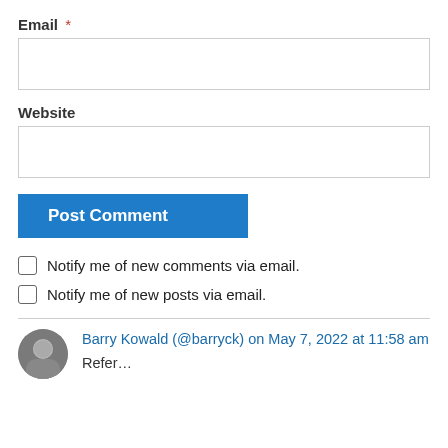Email *
[Figure (other): Empty email input text field with border]
Website
[Figure (other): Empty website input text field with border]
Post Comment
Notify me of new comments via email.
Notify me of new posts via email.
Barry Kowald (@barryck) on May 7, 2022 at 11:58 am